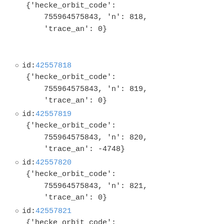{'hecke_orbit_code': 755964575843, 'n': 818, 'trace_an': 0}
id: 42557818
{'hecke_orbit_code': 755964575843, 'n': 819, 'trace_an': 0}
id: 42557819
{'hecke_orbit_code': 755964575843, 'n': 820, 'trace_an': -4748}
id: 42557820
{'hecke_orbit_code': 755964575843, 'n': 821, 'trace_an': 0}
id: 42557821
{'hecke_orbit_code': 755964575843, 'n': 822, 'trace_an': 0}
id: 42557822
{'hecke_orbit_code':